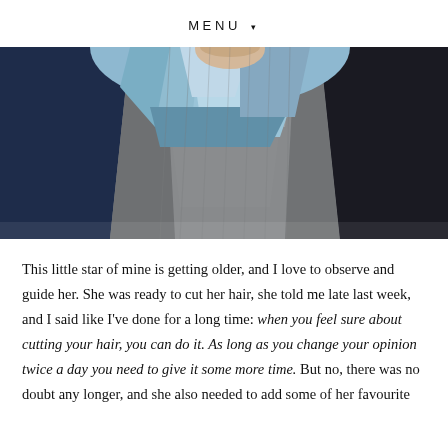MENU ▾
[Figure (photo): Close-up photograph of a young woman with light blue/silver hair wearing a grey textured knit sweater and dark jacket, shot from the torso up against a dark background.]
This little star of mine is getting older, and I love to observe and guide her. She was ready to cut her hair, she told me late last week, and I said like I've done for a long time: when you feel sure about cutting your hair, you can do it. As long as you change your opinion twice a day you need to give it some more time. But no, there was no doubt any longer, and she also needed to add some of her favourite